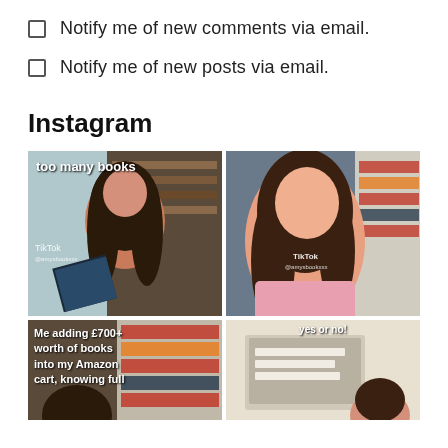Notify me of new comments via email.
Notify me of new posts via email.
Instagram
[Figure (photo): TikTok video thumbnail: woman looking up with bookshelf behind her, text overlay 'too many books', TikTok watermark visible]
[Figure (photo): TikTok video thumbnail: young woman with long brown hair looking upward, bookshelf in background, TikTok watermark with @amysbookxxx]
[Figure (photo): TikTok video thumbnail: text overlay 'Me adding £700+ worth of books into my Amazon cart, knowing full...' with bookshelves in background]
[Figure (photo): TikTok video thumbnail: text overlay 'yes or no!' visible at top, woman partially visible at bottom]